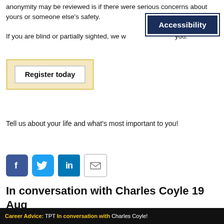anonymity may be reviewed is if there were serious concerns about yours or someone else's safety.
If you are blind or partially sighted, we w... you.
[Figure (other): Accessibility button — dark navy blue rectangular button with white text reading 'Accessibility']
[Figure (other): Register today button inside a yellow/cream rounded box with white button interior]
Tell us about your life and what's most important to you!
[Figure (other): Social media icons: Facebook (blue f), Twitter (blue bird), LinkedIn (blue in), Email (grey envelope)]
In conversation with Charles Coyle 19 Aug
[Figure (screenshot): Video thumbnail banner: black background with yellow and white text reading 'Career Advice: TPT In conversation with Charles Coyle!']